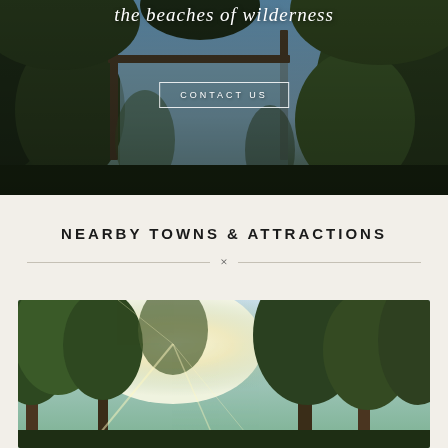[Figure (photo): Outdoor scene with trees, wooden gate/frame structure, and blue sky viewed through forest canopy. Text overlays visible.]
the beaches of wilderness
CONTACT US
NEARBY TOWNS & ATTRACTIONS
[Figure (photo): Looking up through tall pine trees toward bright sunlit sky, sunburst visible through canopy.]